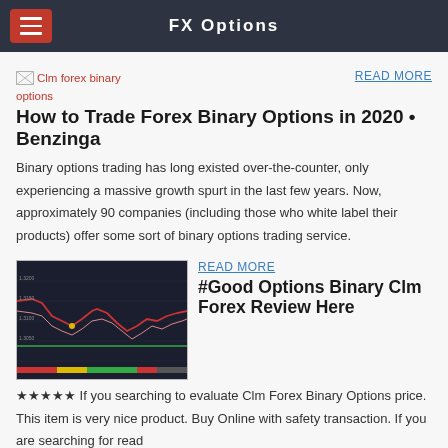FX Options
[Figure (other): Broken image placeholder for Clm forex binary options]
READ MORE
How to Trade Forex Binary Options in 2020 • Benzinga
Binary options trading has long existed over-the-counter, only experiencing a massive growth spurt in the last few years. Now, approximately 90 companies (including those who white label their products) offer some sort of binary options trading service.
[Figure (screenshot): Screenshot of forex trading chart showing candlestick/line chart with colored indicators]
READ MORE
#Good Options Binary Clm Forex Review Here
☆☆☆☆☆ If you searching to evaluate Clm Forex Binary Options price. This item is very nice product. Buy Online with safety transaction. If you are searching for read